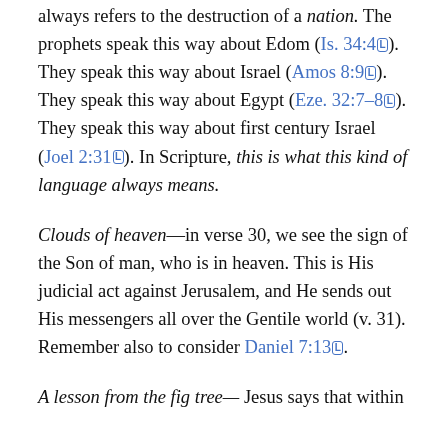always refers to the destruction of a nation. The prophets speak this way about Edom (Is. 34:4). They speak this way about Israel (Amos 8:9). They speak this way about Egypt (Eze. 32:7–8). They speak this way about first century Israel (Joel 2:31). In Scripture, this is what this kind of language always means.
Clouds of heaven—in verse 30, we see the sign of the Son of man, who is in heaven. This is His judicial act against Jerusalem, and He sends out His messengers all over the Gentile world (v. 31). Remember also to consider Daniel 7:13.
A lesson from the fig tree— Jesus says that within